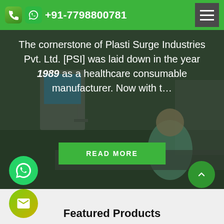+91-7798800781
The cornerstone of Plasti Surge Industries Pvt. Ltd. [PSI] was laid down in the year 1989 as a healthcare consumable manufacturer. Now with t…
READ MORE
[Figure (screenshot): Background photo of medical/industrial setting with a person in teal scrubs and medical equipment]
Featured Products